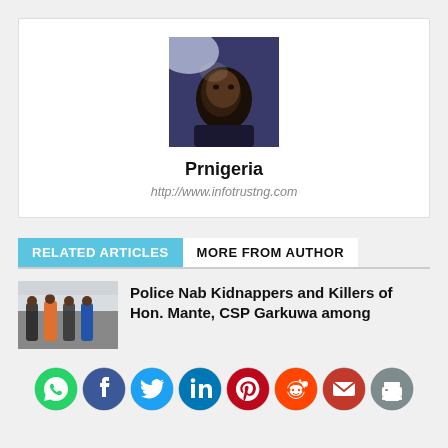[Figure (photo): Author profile photo of Prnigeria, a man in a suit photographed from below]
Prnigeria
http://www.infotrustng.com
RELATED ARTICLES
MORE FROM AUTHOR
[Figure (photo): Thumbnail image showing police with suspects]
Police Nab Kidnappers and Killers of Hon. Mante, CSP Garkuwa among
[Figure (infographic): Social sharing icons: WhatsApp, Facebook, Twitter, LinkedIn, Pinterest, Reddit, Email, Print]